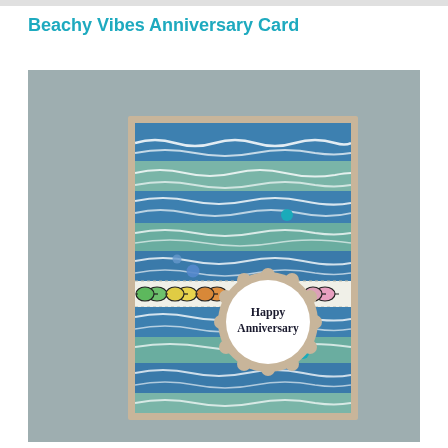Beachy Vibes Anniversary Card
[Figure (photo): A handmade anniversary card with blue and teal wave-stripe patterned paper on a kraft card base, featuring a row of colorful sunglasses, enamel dots, and a circular scallop-edged badge reading 'Happy Anniversary' in the center.]